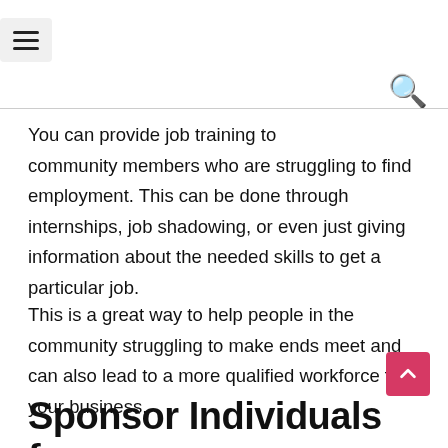[Hamburger menu icon and search icon]
You can provide job training to community members who are struggling to find employment. This can be done through internships, job shadowing, or even just giving information about the needed skills to get a particular job.
This is a great way to help people in the community struggling to make ends meet and can also lead to a more qualified workforce for your business.
Sponsor Individuals for